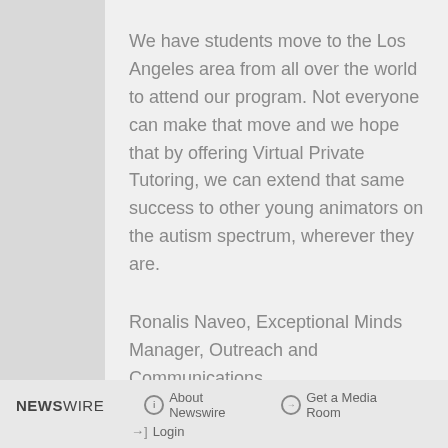We have students move to the Los Angeles area from all over the world to attend our program. Not everyone can make that move and we hope that by offering Virtual Private Tutoring, we can extend that same success to other young animators on the autism spectrum, wherever they are.
Ronalis Naveo, Exceptional Minds Manager, Outreach and Communications
NEWSWIRE  About Newswire  Get a Media Room  Login